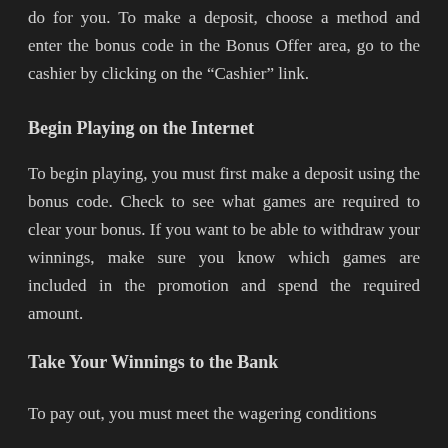do for you. To make a deposit, choose a method and enter the bonus code in the Bonus Offer area, go to the cashier by clicking on the “Cashier” link.
Begin Playing on the Internet
To begin playing, you must first make a deposit using the bonus code. Check to see what games are required to clear your bonus. If you want to be able to withdraw your winnings, make sure you know which games are included in the promotion and spend the required amount.
Take Your Winnings to the Bank
To pay out, you must meet the wagering conditions